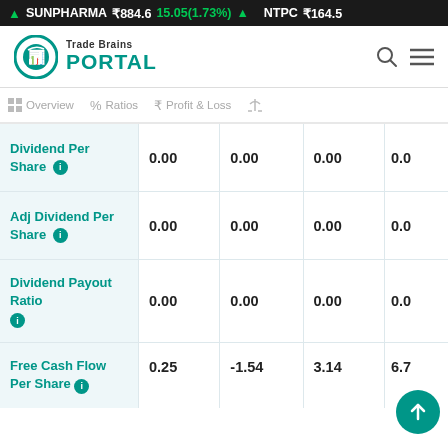SUNPHARMA ₹884.6  15.05(1.73%)  NTPC ₹164.5
[Figure (logo): Trade Brains Portal logo with teal circle icon]
| Metric | Col1 | Col2 | Col3 | Col4 |
| --- | --- | --- | --- | --- |
| Dividend Per Share | 0.00 | 0.00 | 0.00 | 0.0 |
| Adj Dividend Per Share | 0.00 | 0.00 | 0.00 | 0.0 |
| Dividend Payout Ratio | 0.00 | 0.00 | 0.00 | 0.0 |
| Free Cash Flow Per Share | 0.25 | -1.54 | 3.14 | 6.7 |